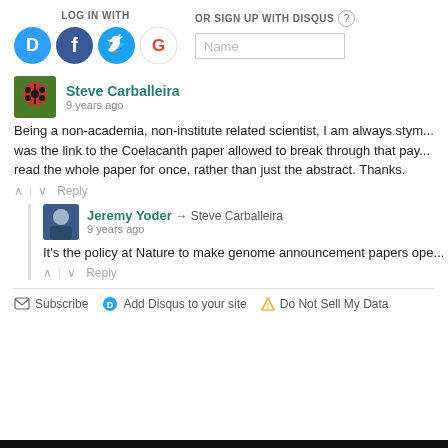LOG IN WITH
[Figure (infographic): Social login icons for Disqus, Facebook, Twitter, Google]
OR SIGN UP WITH DISQUS
[Figure (screenshot): Name input text field]
Steve Carballeira
9 years ago
Being a non-academia, non-institute related scientist, I am always stym... was the link to the Coelacanth paper allowed to break through that pay... read the whole paper for once, rather than just the abstract. Thanks.
Reply
Jeremy Yoder → Steve Carballeira
9 years ago
It's the policy at Nature to make genome announcement papers ope...
Reply
Subscribe
Add Disqus to your site
Do Not Sell My Data